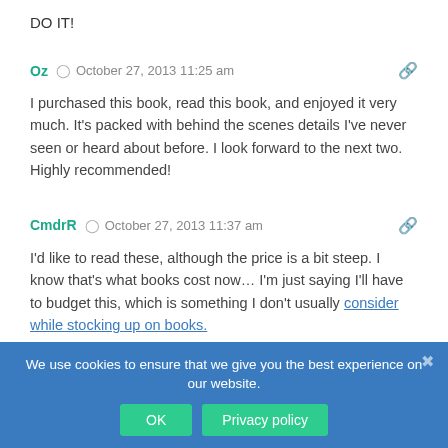DO IT!
Oz  ©  October 27, 2013 11:25 am
I purchased this book, read this book, and enjoyed it very much. It's packed with behind the scenes details I've never seen or heard about before. I look forward to the next two. Highly recommended!
CmdrR  ©  October 27, 2013 11:37 am
I'd like to read these, although the price is a bit steep. I know that's what books cost now… I'm just saying I'll have to budget this, which is something I don't usually consider while stocking up on books.
James  ©  October 27, 2013 11:...
We use cookies to ensure that we give you the best experience on our website.